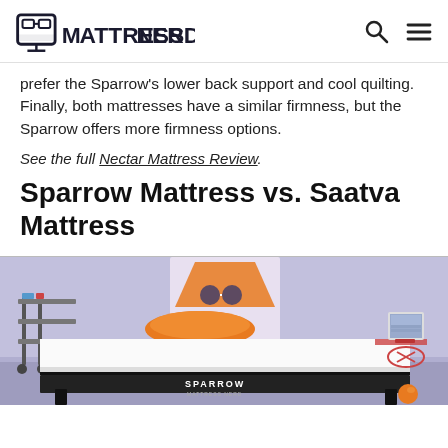MattressNerd
prefer the Sparrow's lower back support and cool quilting. Finally, both mattresses have a similar firmness, but the Sparrow offers more firmness options.
See the full Nectar Mattress Review.
Sparrow Mattress vs. Saatva Mattress
[Figure (photo): Photo of a Sparrow mattress on a bed frame in a styled room with orange pillows, a standing desk with equipment on the left, a laptop on a stand on the right, and an orange ball on the floor. The MattressNerd branded backdrop is visible behind the bed.]